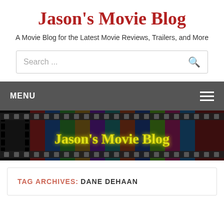Jason's Movie Blog
A Movie Blog for the Latest Movie Reviews, Trailers, and More
[Figure (screenshot): Search bar with placeholder text 'Search ...' and a search icon on the right]
MENU
[Figure (illustration): Jason's Movie Blog banner image showing film strip and colorful movie posters with yellow neon text 'Jason's Movie Blog']
TAG ARCHIVES: DANE DEHAAN